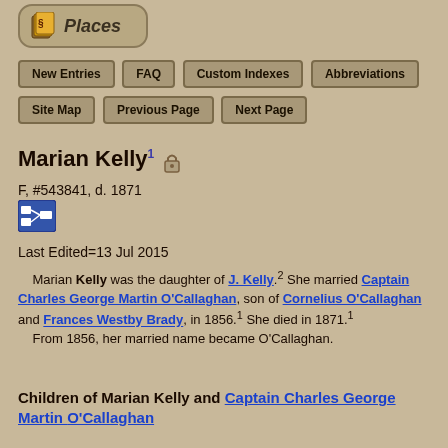[Figure (logo): Places website logo — rounded rectangle button with book/scroll icon and italic 'Places' text]
New Entries | FAQ | Custom Indexes | Abbreviations | Site Map | Previous Page | Next Page
Marian Kelly1
F, #543841, d. 1871
Last Edited=13 Jul 2015
Marian Kelly was the daughter of J. Kelly.2 She married Captain Charles George Martin O'Callaghan, son of Cornelius O'Callaghan and Frances Westby Brady, in 1856.1 She died in 1871.1
From 1856, her married name became O'Callaghan.
Children of Marian Kelly and Captain Charles George Martin O'Callaghan